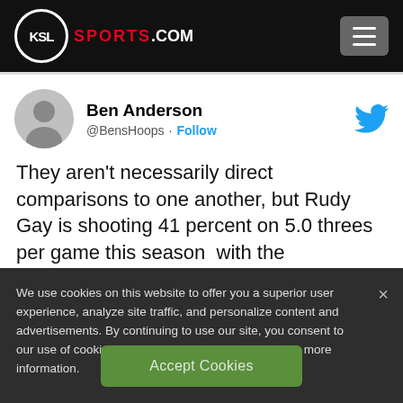KSL SPORTS.COM
[Figure (screenshot): Tweet by Ben Anderson (@BensHoops) with a Follow button and Twitter bird icon. Tweet text reads: They aren't necessarily direct comparisons to one another, but Rudy Gay is shooting 41 percent on 5.0 threes per game this season  with the]
We use cookies on this website to offer you a superior user experience, analyze site traffic, and personalize content and advertisements. By continuing to use our site, you consent to our use of cookies. Please visit our Privacy Policy for more information.
Accept Cookies